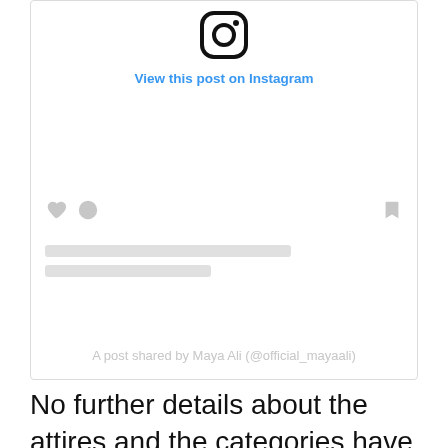[Figure (screenshot): Instagram embed widget showing Instagram logo icon, 'View this post on Instagram' link, like/comment/bookmark icons (greyed out), two grey placeholder bars for username/caption, and attribution text 'A post shared by Maya Ali (@official_mayaali)']
No further details about the attires and the categories have been revealed yet by Maya Ali or other partners. However, most probably, the brand will consist of both